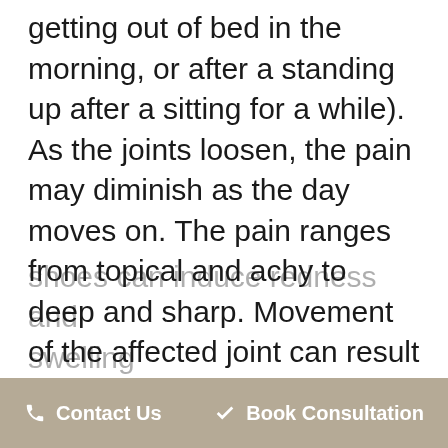getting out of bed in the morning, or after a standing up after a sitting for a while). As the joints loosen, the pain may diminish as the day moves on. The pain ranges from topical and achy to deep and sharp. Movement of the affected joint can result in a clicking feeling (crepitus). In more advanced cases, the joints develop bone spurs, which is the body's mechanism for limiting the motion.  Irritation from
📞 Contact Us    ✓ Book Consultation